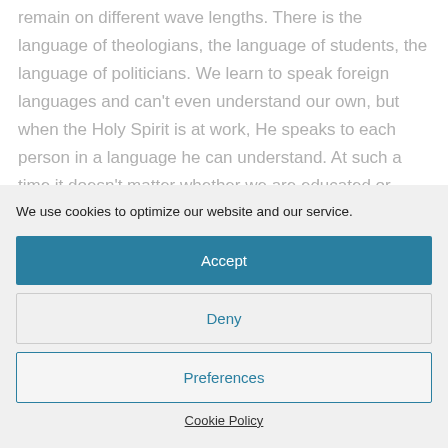remain on different wave lengths. There is the language of theologians, the language of students, the language of politicians. We learn to speak foreign languages and can't even understand our own, but when the Holy Spirit is at work, He speaks to each person in a language he can understand. At such a time it doesn't matter whether we are educated or uneducated, whether we
We use cookies to optimize our website and our service.
Accept
Deny
Preferences
Cookie Policy